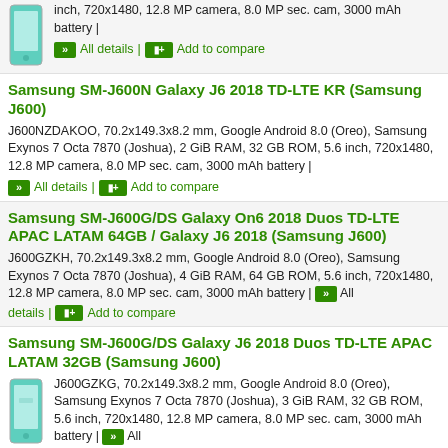inch, 720x1480, 12.8 MP camera, 8.0 MP sec. cam, 3000 mAh battery |
All details | Add to compare
Samsung SM-J600N Galaxy J6 2018 TD-LTE KR (Samsung J600)
J600NZDAKOO, 70.2x149.3x8.2 mm, Google Android 8.0 (Oreo), Samsung Exynos 7 Octa 7870 (Joshua), 2 GiB RAM, 32 GB ROM, 5.6 inch, 720x1480, 12.8 MP camera, 8.0 MP sec. cam, 3000 mAh battery |
All details | Add to compare
Samsung SM-J600G/DS Galaxy On6 2018 Duos TD-LTE APAC LATAM 64GB / Galaxy J6 2018 (Samsung J600)
J600GZKH, 70.2x149.3x8.2 mm, Google Android 8.0 (Oreo), Samsung Exynos 7 Octa 7870 (Joshua), 4 GiB RAM, 64 GB ROM, 5.6 inch, 720x1480, 12.8 MP camera, 8.0 MP sec. cam, 3000 mAh battery | All details | Add to compare
Samsung SM-J600G/DS Galaxy J6 2018 Duos TD-LTE APAC LATAM 32GB (Samsung J600)
J600GZKG, 70.2x149.3x8.2 mm, Google Android 8.0 (Oreo), Samsung Exynos 7 Octa 7870 (Joshua), 3 GiB RAM, 32 GB ROM, 5.6 inch, 720x1480, 12.8 MP camera, 8.0 MP sec. cam, 3000 mAh battery | All details | Add to compare